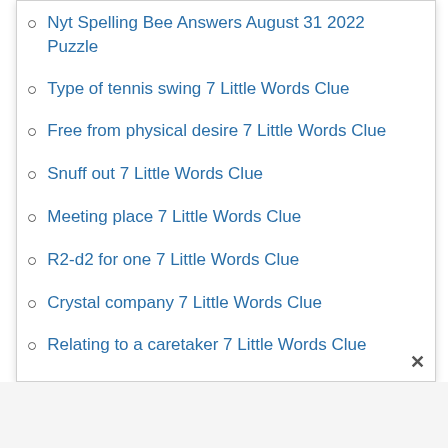Nyt Spelling Bee Answers August 31 2022 Puzzle
Type of tennis swing 7 Little Words Clue
Free from physical desire 7 Little Words Clue
Snuff out 7 Little Words Clue
Meeting place 7 Little Words Clue
R2-d2 for one 7 Little Words Clue
Crystal company 7 Little Words Clue
Relating to a caretaker 7 Little Words Clue